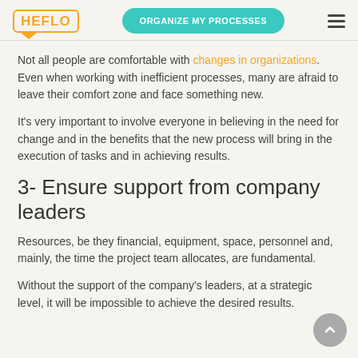HEFLO | ORGANIZE MY PROCESSES
Not all people are comfortable with changes in organizations. Even when working with inefficient processes, many are afraid to leave their comfort zone and face something new.
It's very important to involve everyone in believing in the need for change and in the benefits that the new process will bring in the execution of tasks and in achieving results.
3- Ensure support from company leaders
Resources, be they financial, equipment, space, personnel and, mainly, the time the project team allocates, are fundamental.
Without the support of the company's leaders, at a strategic level, it will be impossible to achieve the desired results.